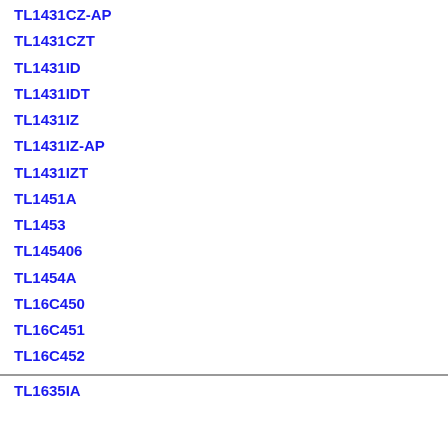TL1431CZ-AP
TL1431CZT
TL1431ID
TL1431IDT
TL1431IZ
TL1431IZ-AP
TL1431IZT
TL1451A
TL1453
TL145406
TL1454A
TL16C450
TL16C451
TL16C452
TL1635IA